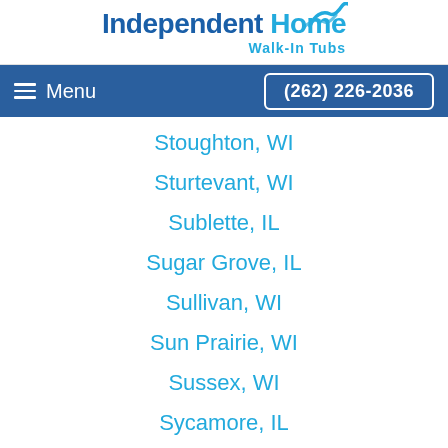[Figure (logo): Independent Home Walk-In Tubs logo with wave icon in blue]
Menu | (262) 226-2036
Stoughton, WI
Sturtevant, WI
Sublette, IL
Sugar Grove, IL
Sullivan, WI
Sun Prairie, WI
Sussex, WI
Sycamore, IL
Theresa, WI
Thiensville, WI
Tower Lakes, IL